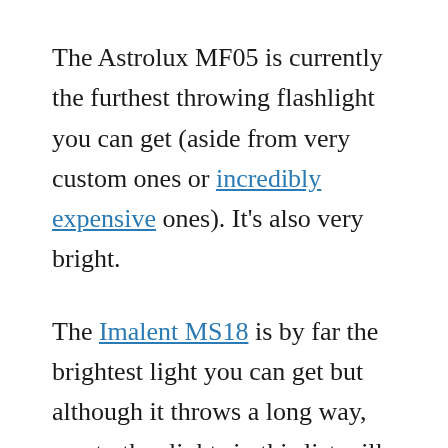The Astrolux MF05 is currently the furthest throwing flashlight you can get (aside from very custom ones or incredibly expensive ones). It's also very bright.
The Imalent MS18 is by far the brightest light you can get but although it throws a long way, most other lights in this list will throw a lot further.
Here's an overview of them all, ordered by